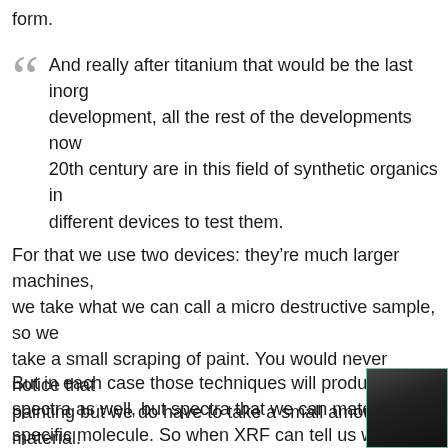form.
And really after titanium that would be the last inorganic development, all the rest of the developments now in the 20th century are in this field of synthetic organics in different devices to test them.
For that we use two devices: they’re much larger machines, we take what we can call a micro destructive sample, so we take a small scraping of paint. You would never notice that on the painting but we do have to take a small amount of material. We use, for example, two different devices: one is called a and it involves using infrared light, and the other one we call which uses lasers.
But in each case those techniques will produce spectra as well, but spectra that we can match to a specific molecule. So when XRF can tell us what the
[Figure (photo): Partial photo of a dark subject, cropped at right edge of page]